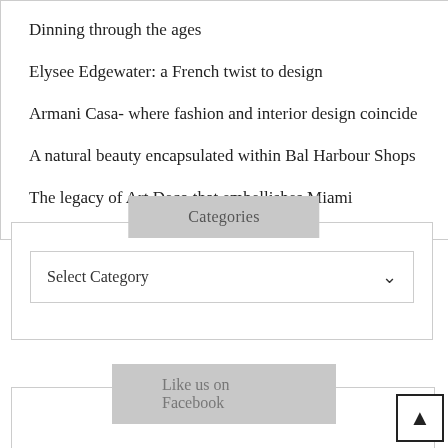Dinning through the ages
Elysee Edgewater: a French twist to design
Armani Casa- where fashion and interior design coincide
A natural beauty encapsulated within Bal Harbour Shops
The legacy of Art Deco that embellishes Miami
Categories
Select Category
Like us on Facebook